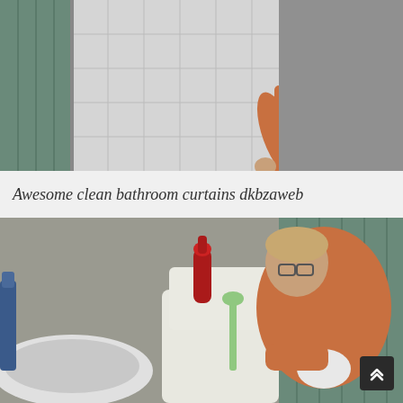[Figure (photo): A person in an orange shirt standing in a bathroom next to a shower with a teal patterned curtain and white tiled walls, reaching toward the shower curtain.]
Awesome clean bathroom curtains dkbzaweb
[Figure (photo): A woman with glasses wearing an orange shirt bending over in a bathroom, holding a white cloth. A white toilet with red decorative bottle and green toilet brush are visible, along with a teal shower curtain in the background.]